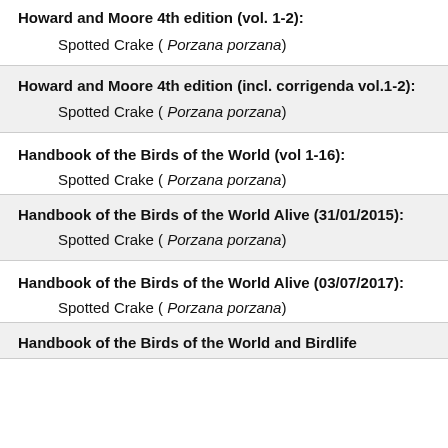Howard and Moore 4th edition (vol. 1-2):
Spotted Crake ( Porzana porzana)
Howard and Moore 4th edition (incl. corrigenda vol.1-2):
Spotted Crake ( Porzana porzana)
Handbook of the Birds of the World (vol 1-16):
Spotted Crake ( Porzana porzana)
Handbook of the Birds of the World Alive (31/01/2015):
Spotted Crake ( Porzana porzana)
Handbook of the Birds of the World Alive (03/07/2017):
Spotted Crake ( Porzana porzana)
Handbook of the Birds of the World and Birdlife